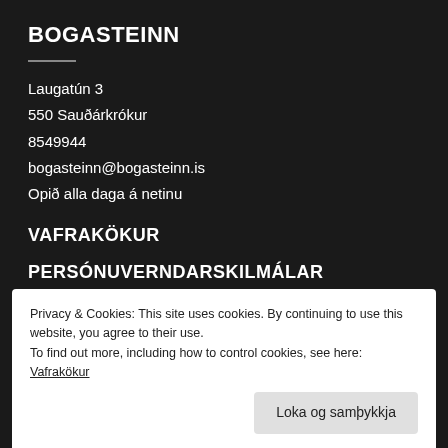BOGASTEINN
Laugatún 3
550 Sauðárkrókur
8549944
bogasteinn@bogasteinn.is
Opið alla daga á netinu
VAFRAKÖKUR
PERSÓNUVERNDARSKILMÁLAR
Privacy & Cookies: This site uses cookies. By continuing to use this website, you agree to their use.
To find out more, including how to control cookies, see here: Vafrakökur
Loka og samþykkja